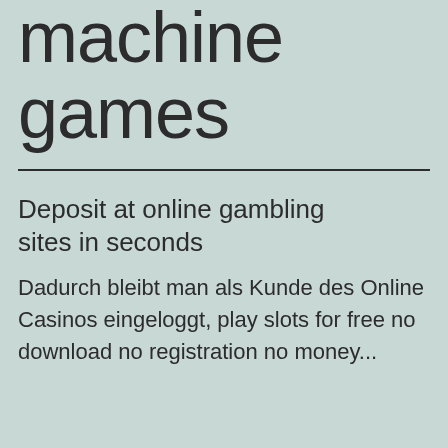machine games
Deposit at online gambling sites in seconds
Dadurch bleibt man als Kunde des Online Casinos eingeloggt, play slots for free no download no registration no money...